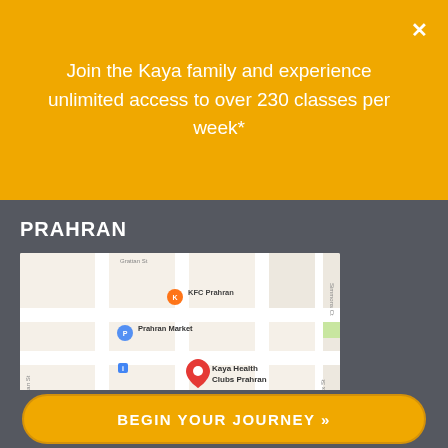Join the Kaya family and experience unlimited access to over 230 classes per week*
PRAHRAN
[Figure (map): Google Maps screenshot showing Prahran area with Kaya Health Clubs Prahran marked with a red pin, near KFC Prahran, Prahran Market, and Coles Prahran]
Pran Central Shopping Centre
325 Chapel St
Prahran VIC 3181
03 9999 1999
BEGIN YOUR JOURNEY »